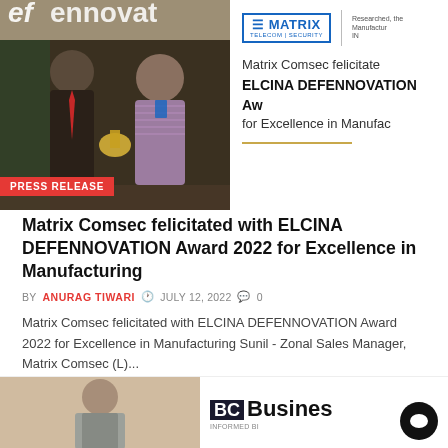[Figure (photo): Two men shaking hands at an awards ceremony, one in suit and one in striped shirt, on stage with banners in background]
[Figure (logo): Matrix Telecom Security logo and India Manufacturing logo side by side]
Matrix Comsec felicitated ELCINA DEFENNOVATION Award for Excellence in Manufacturing
Matrix Comsec felicitated with ELCINA DEFENNOVATION Award 2022 for Excellence in Manufacturing
BY ANURAG TIWARI  JULY 12, 2022  0
Matrix Comsec felicitated with ELCINA DEFENNOVATION Award 2022 for Excellence in Manufacturing Sunil - Zonal Sales Manager, Matrix Comsec (L)...
[Figure (photo): Person photo at bottom left preview]
[Figure (logo): BC Business logo at bottom right]